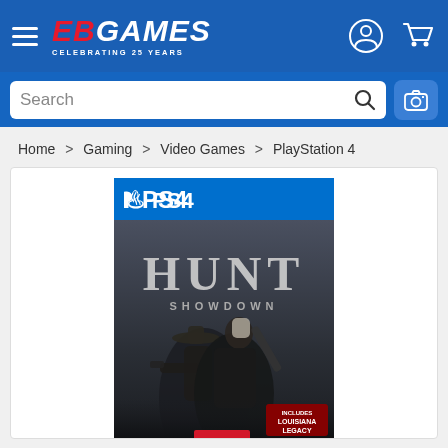[Figure (screenshot): EB Games website navigation bar with hamburger menu, EB Games logo (Celebrating 25 Years), user account icon, and shopping cart icon on blue background]
[Figure (screenshot): Search bar with text input field showing 'Search', a magnifying glass icon, and a camera/barcode scanner button]
Home > Gaming > Video Games > PlayStation 4
[Figure (photo): PS4 game box cover for Hunt: Showdown. Blue PS4 header band at top with PlayStation logo and PS4 text. Dark atmospheric game cover showing two hunters with guns (a man in a wide-brim hat holding a pistol, a woman holding a shotgun) in a misty swamp setting. Title 'HUNT SHOWDOWN' in large stone-textured letters. 'Louisiana Legacy' DLC badge in bottom right corner.]